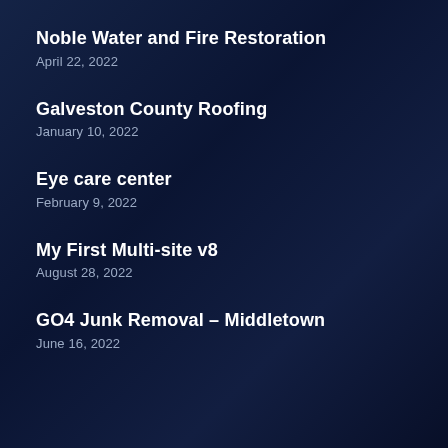Noble Water and Fire Restoration
April 22, 2022
Galveston County Roofing
January 10, 2022
Eye care center
February 9, 2022
My First Multi-site v8
August 28, 2022
GO4 Junk Removal – Middletown
June 16, 2022